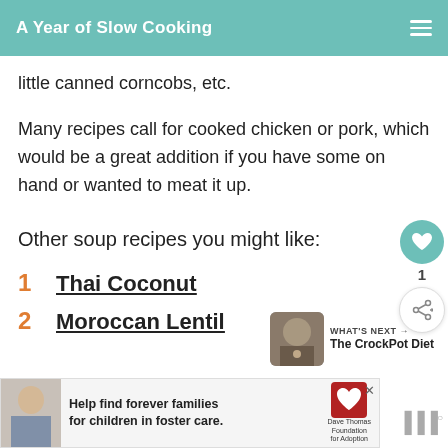A Year of Slow Cooking
little canned corncobs, etc.
Many recipes call for cooked chicken or pork, which would be a great addition if you have some on hand or wanted to meat it up.
Other soup recipes you might like:
1  Thai Coconut
2  Moroccan Lentil
[Figure (other): What's Next promo block with thumbnail image and text 'The CrockPot Diet']
[Figure (other): Advertisement banner: Help find forever families for children in foster care. Dave Thomas Foundation for Adoption. Shows photo of a boy.]